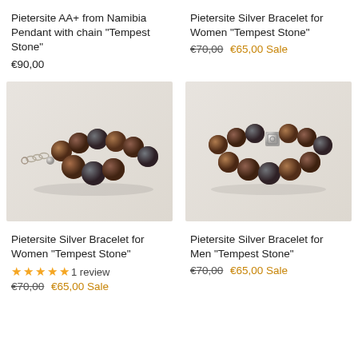Pietersite AA+ from Namibia Pendant with chain "Tempest Stone"
€90,00
Pietersite Silver Bracelet for Women "Tempest Stone"
€70,00  €65,00 Sale
[Figure (photo): Pietersite bead bracelet with silver chain clasp, brown/dark beads on white background]
[Figure (photo): Pietersite silver bead bracelet for men with square silver bead, brown beads on white background]
Pietersite Silver Bracelet for Women "Tempest Stone"
★★★★★ 1 review
€70,00  €65,00 Sale
Pietersite Silver Bracelet for Men "Tempest Stone"
€70,00  €65,00 Sale